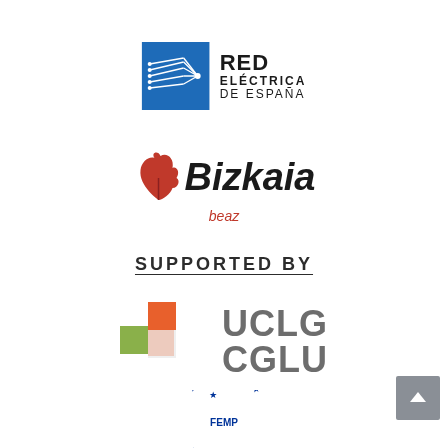[Figure (logo): Red Eléctrica de España logo — blue square icon with lines on left, bold text RED ELÉCTRICA DE ESPAÑA on right]
[Figure (logo): Bizkaia Beaz logo — red oak leaf icon, bold italic Bizkaia text, red italic beaz below]
SUPPORTED BY
[Figure (logo): UCLG CGLU logo — orange and olive green cross/plus shape, gray bold text UCLG CGLU]
[Figure (logo): FEMP logo — circular arrangement of blue stars with FEMP in center]